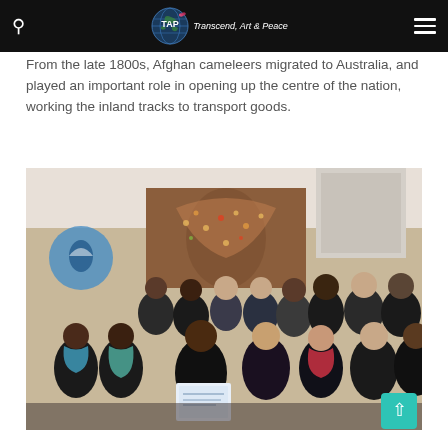GTAP – Transcend Art & Peace
From the late 1800s, Afghan cameleers migrated to Australia, and played an important role in opening up the centre of the nation, working the inland tracks to transport goods.
[Figure (photo): Group photo of diverse people standing together indoors, with a colourful indigenous artwork on the wall behind them. A woman in the centre holds a certificate. There is a mosque logo on the left wall.]